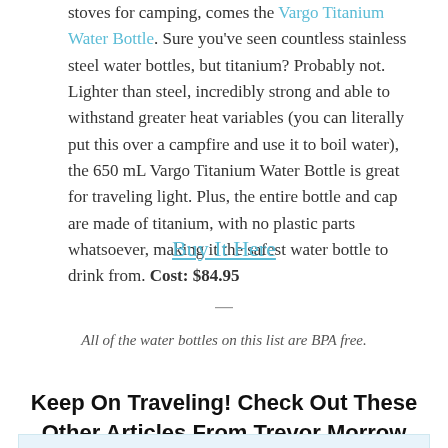stoves for camping, comes the Vargo Titanium Water Bottle. Sure you've seen countless stainless steel water bottles, but titanium? Probably not. Lighter than steel, incredibly strong and able to withstand greater heat variables (you can literally put this over a campfire and use it to boil water), the 650 mL Vargo Titanium Water Bottle is great for traveling light. Plus, the entire bottle and cap are made of titanium, with no plastic parts whatsoever, making it the safest water bottle to drink from. Cost: $84.95
Buy It Here
—
All of the water bottles on this list are BPA free.
Keep On Traveling! Check Out These Other Articles From Trevor Morrow Travel: